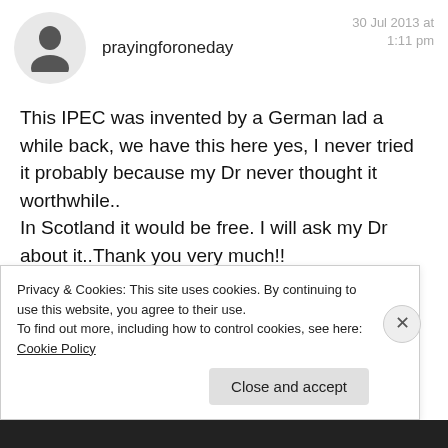prayingforoneday  30 Jul 2013 at 1:11 pm
This IPEC was invented by a German lad a while back, we have this here yes, I never tried it probably because my Dr never thought it worthwhile..
In Scotland it would be free. I will ask my Dr about it..Thank you very much!!
Shaun x
Privacy & Cookies: This site uses cookies. By continuing to use this website, you agree to their use.
To find out more, including how to control cookies, see here: Cookie Policy
Close and accept